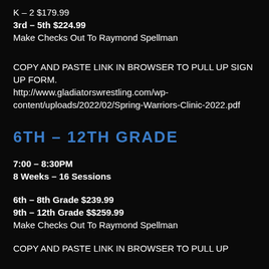K – 2 $179.99
3rd – 5th $224.99
Make Checks Out To Raymond Spellman
COPY AND PASTE LINK IN BROWSER TO PULL UP SIGN UP FORM.
http://www.gladiatorswrestling.com/wp-content/uploads/2022/02/Spring-Warriors-Clinic-2022.pdf
6TH – 12TH GRADE
7:00 – 8:30PM
8 Weeks – 16 Sessions
6th – 8th Grade $239.99
9th – 12th Grade $$259.99
Make Checks Out To Raymond Spellman
COPY AND PASTE LINK IN BROWSER TO PULL UP